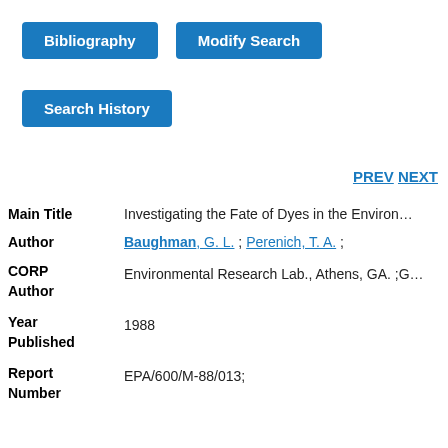Bibliography | Modify Search
Search History
PREV NEXT
| Field | Value |
| --- | --- |
| Main Title | Investigating the Fate of Dyes in the Environ... |
| Author | Baughman, G. L. ; Perenich, T. A. ; |
| CORP Author | Environmental Research Lab., Athens, GA. ;G... |
| Year Published | 1988 |
| Report Number | EPA/600/M-88/013; |